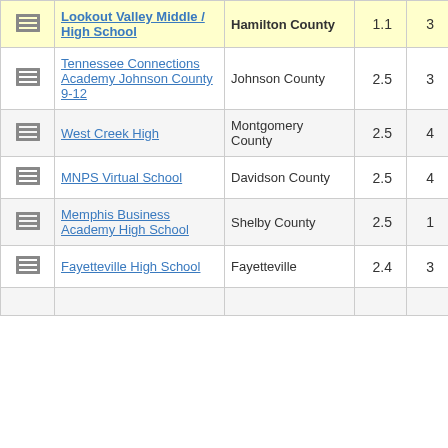|  | School | District | Col4 | Col5 |
| --- | --- | --- | --- | --- |
| [icon] | Lookout Valley Middle / High School | Hamilton County | 1.1 | 3 |
| [icon] | Tennessee Connections Academy Johnson County 9-12 | Johnson County | 2.5 | 3 |
| [icon] | West Creek High | Montgomery County | 2.5 | 4 |
| [icon] | MNPS Virtual School | Davidson County | 2.5 | 4 |
| [icon] | Memphis Business Academy High School | Shelby County | 2.5 | 1 |
| [icon] | Fayetteville High School | Fayetteville | 2.4 | 3 |